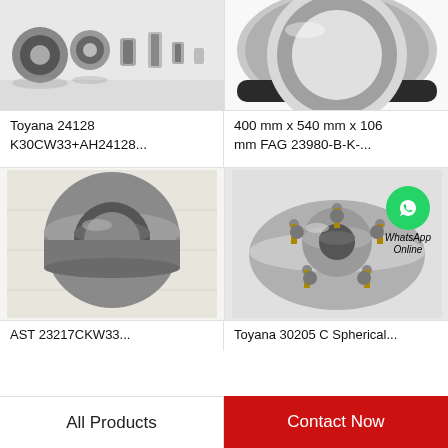[Figure (photo): Multiple small cylindrical bearings and roller components arranged on a reflective surface]
[Figure (photo): Large deep groove ball bearing viewed from the side, black rubber seal visible]
Toyana 24128 K30CW33+AH24128...
400 mm x 540 mm x 106 mm FAG 23980-B-K-...
[Figure (photo): Round sealed wheel bearing, dark gray metal, standing upright on white surface]
[Figure (photo): Wheel hub bearing assembly with 5 bolt holes, with WhatsApp Online overlay]
AST 23217CKW33...
Toyana 30205 C Spherical...
All Products
Contact Now